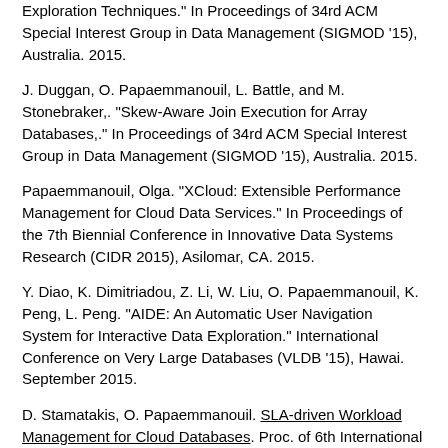Exploration Techniques." In Proceedings of 34rd ACM Special Interest Group in Data Management (SIGMOD '15), Australia. 2015.
J. Duggan, O. Papaemmanouil, L. Battle, and M. Stonebraker,. "Skew-Aware Join Execution for Array Databases,." In Proceedings of 34rd ACM Special Interest Group in Data Management (SIGMOD '15), Australia. 2015.
Papaemmanouil, Olga. "XCloud: Extensible Performance Management for Cloud Data Services." In Proceedings of the 7th Biennial Conference in Innovative Data Systems Research (CIDR 2015), Asilomar, CA. 2015.
Y. Diao, K. Dimitriadou, Z. Li, W. Liu, O. Papaemmanouil, K. Peng, L. Peng. "AIDE: An Automatic User Navigation System for Interactive Data Exploration." International Conference on Very Large Databases (VLDB '15), Hawai. September 2015.
D. Stamatakis, O. Papaemmanouil. SLA-driven Workload Management for Cloud Databases. Proc. of 6th International Workshop on Cloud Data Management (CloudDB '14). Chicago, IL: 2014.
J. Duggan, O. Papaemmanouil, U. Cetintemel, E. Upfal. Contender: A Resource Modeling Approach for Concurrent Query Performance Prediction. Proc. of 17th International Conference on Extending Database